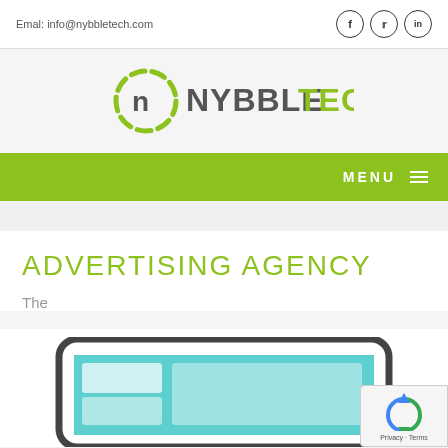Email: info@nybbletech.com
[Figure (logo): Nybble Tech logo with circular green icon and grey/green text]
MENU
ADVERTISING AGENCY
The
[Figure (illustration): Partial screenshot of a device/tablet illustration at the bottom of the page]